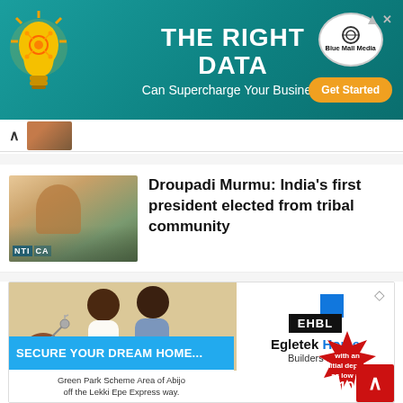[Figure (infographic): Top advertisement banner: teal background with lightbulb icon, bold white text 'THE RIGHT DATA Can Supercharge Your Business', Blue Mall Media logo and orange 'Get Started' button on right]
[Figure (photo): Navigation bar with back arrow and thumbnail image of a person]
[Figure (photo): Article thumbnail showing a woman in front of a background with text 'NTI CA']
Droupadi Murmu: India's first president elected from tribal community
[Figure (infographic): EHBL Egletek Home Builders Ltd. advertisement: couple receiving house keys, EHBL logo, red starburst with 'with an initial deposit as low as N10M', blue strip 'SECURE YOUR DREAM HOME...', text 'Green Park Scheme Area of Abijo off the Lekki Epe Express way.']